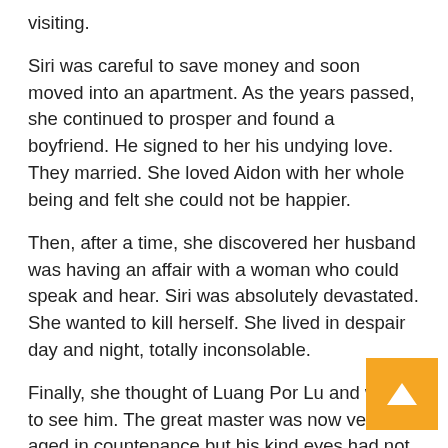visiting.
Siri was careful to save money and soon moved into an apartment. As the years passed, she continued to prosper and found a boyfriend. He signed to her his undying love. They married. She loved Aidon with her whole being and felt she could not be happier.
Then, after a time, she discovered her husband was having an affair with a woman who could speak and hear. Siri was absolutely devastated. She wanted to kill herself. She lived in despair day and night, totally inconsolable.
Finally, she thought of Luang Por Lu and went to see him. The great master was now very aged in countenance but his kind eyes had not changed. She fell on the floor before him, crying and thrashing about, trying to sign what had happened and the depths of her unhappiness. She looked up at her master and saw the most beautiful smile a…r on his face. She gestured “what can I do master?” ho